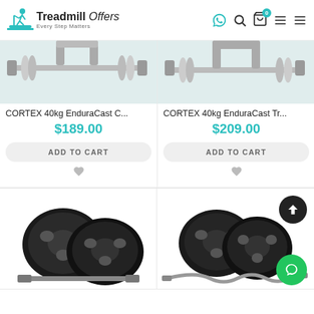Treadmill Offers - Every Step Matters
CORTEX 40kg EnduraCast C...
$189.00
ADD TO CART
CORTEX 40kg EnduraCast Tr...
$209.00
ADD TO CART
[Figure (photo): Weight plates set with barbell (bottom left product)]
[Figure (photo): Weight plates set with curl bar (bottom right product)]